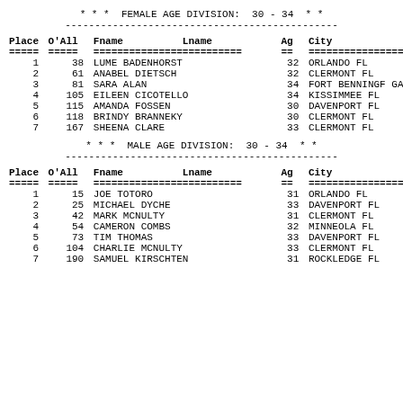* * *  FEMALE AGE DIVISION:  30 - 34  * *
----------------------------------------------
| Place | O'All | Fname | Lname | Ag | City |
| --- | --- | --- | --- | --- | --- |
| 1 | 38 | LUME | BADENHORST | 32 | ORLANDO FL |
| 2 | 61 | ANABEL | DIETSCH | 32 | CLERMONT FL |
| 3 | 81 | SARA | ALAN | 34 | FORT BENNINGF GA |
| 4 | 105 | EILEEN | CICOTELLO | 34 | KISSIMMEE FL |
| 5 | 115 | AMANDA | FOSSEN | 30 | DAVENPORT FL |
| 6 | 118 | BRINDY | BRANNEKY | 30 | CLERMONT FL |
| 7 | 167 | SHEENA | CLARE | 33 | CLERMONT FL |
* * *  MALE AGE DIVISION:  30 - 34  * *
----------------------------------------------
| Place | O'All | Fname | Lname | Ag | City |
| --- | --- | --- | --- | --- | --- |
| 1 | 15 | JOE | TOTORO | 31 | ORLANDO FL |
| 2 | 25 | MICHAEL | DYCHE | 33 | DAVENPORT FL |
| 3 | 42 | MARK | MCNULTY | 31 | CLERMONT FL |
| 4 | 54 | CAMERON | COMBS | 32 | MINNEOLA FL |
| 5 | 73 | TIM | THOMAS | 33 | DAVENPORT FL |
| 6 | 104 | CHARLIE | MCNULTY | 33 | CLERMONT FL |
| 7 | 190 | SAMUEL | KIRSCHTEN | 31 | ROCKLEDGE FL |